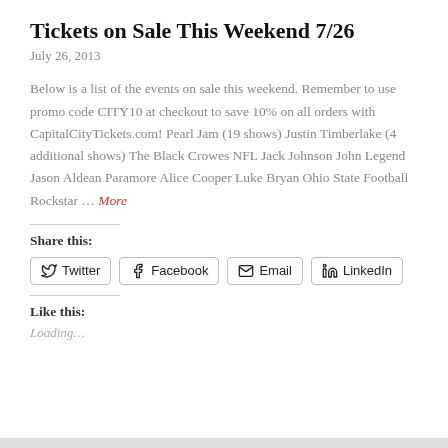Tickets on Sale This Weekend 7/26
July 26, 2013
Below is a list of the events on sale this weekend. Remember to use promo code CITY10 at checkout to save 10% on all orders with CapitalCityTickets.com! Pearl Jam (19 shows) Justin Timberlake (4 additional shows) The Black Crowes NFL Jack Johnson John Legend Jason Aldean Paramore Alice Cooper Luke Bryan Ohio State Football Rockstar … More
Share this:
Twitter Facebook Email LinkedIn
Like this:
Loading…